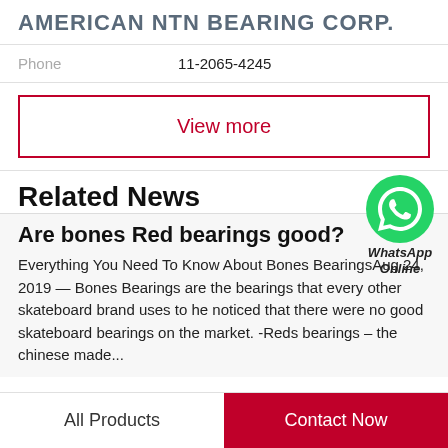AMERICAN NTN BEARING CORP.
Phone   11-2065-4245
View more
Related News
[Figure (logo): WhatsApp green circle icon with phone handset, labeled 'WhatsApp Online']
Are bones Red bearings good?
Everything You Need To Know About Bones BearingsAug 24, 2019 — Bones Bearings are the bearings that every other skateboard brand uses to he noticed that there were no good skateboard bearings on the market. -Reds bearings – the chinese made...
All Products   Contact Now